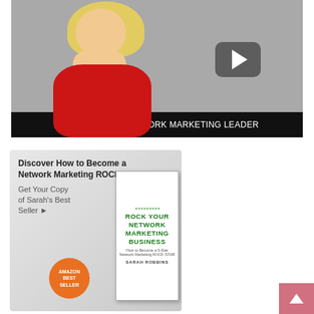[Figure (photo): Photo of Sarah Robbins, a blonde woman in a red dress, with a video play button overlay on a grey background]
Sarah Robbins, NETWORK MARKETING LEADER
[Figure (illustration): Book advertisement banner with text 'Discover How to Become a Network Marketing ROCK STAR' and 'Get Your Copy of Sarah's Best Seller', showing the book 'Rock Your Network Marketing Business' by Sarah Robbins with an Amazon Best Seller badge]
[Figure (illustration): Pink back-to-top button with white upward arrow in bottom-right corner]